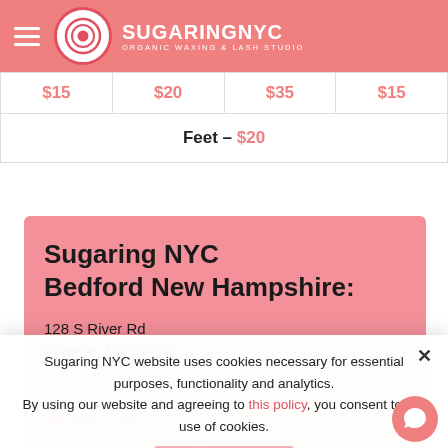SugaringNYC — Organic Waxing & Lash Studio
| $15 | $20 | $35 | $15 |
| Feet – $20 |
Sugaring NYC Bedford New Hampshire:
128 S River Rd
Bedford, NH 03110
Sugaring NYC website uses cookies necessary for essential purposes, functionality and analytics. By using our website and agreeing to this policy, you consent to our use of cookies.